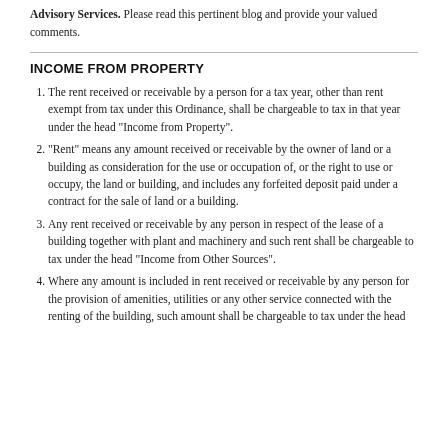Advisory Services. Please read this pertinent blog and provide your valued comments.
INCOME FROM PROPERTY
The rent received or receivable by a person for a tax year, other than rent exempt from tax under this Ordinance, shall be chargeable to tax in that year under the head "Income from Property".
"Rent" means any amount received or receivable by the owner of land or a building as consideration for the use or occupation of, or the right to use or occupy, the land or building, and includes any forfeited deposit paid under a contract for the sale of land or a building.
Any rent received or receivable by any person in respect of the lease of a building together with plant and machinery and such rent shall be chargeable to tax under the head "Income from Other Sources".
Where any amount is included in rent received or receivable by any person for the provision of amenities, utilities or any other service connected with the renting of the building, such amount shall be chargeable to tax under the head